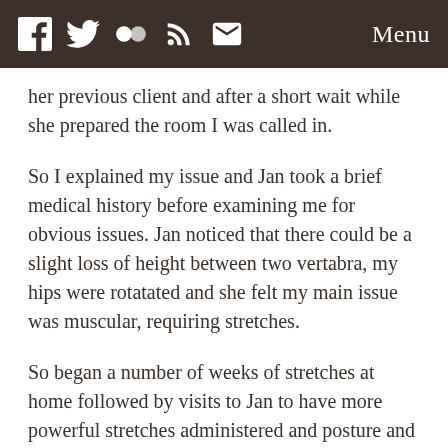Menu
her previous client and after a short wait while she prepared the room I was called in.
So I explained my issue and Jan took a brief medical history before examining me for obvious issues. Jan noticed that there could be a slight loss of height between two vertabra, my hips were rotatated and she felt my main issue was muscular, requiring stretches.
So began a number of weeks of stretches at home followed by visits to Jan to have more powerful stretches administered and posture and flexibility checked. I've been down this road before with Osteopaths and not really got anyware but as Jan took the time to explain my condition and why the